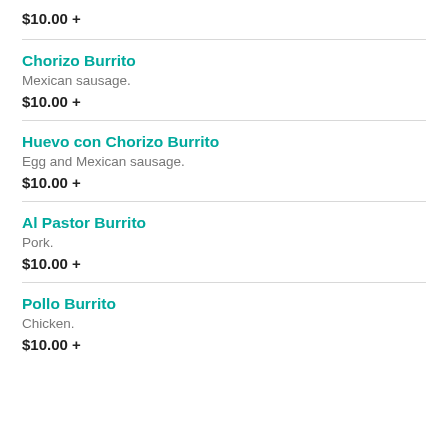$10.00 +
Chorizo Burrito
Mexican sausage.
$10.00 +
Huevo con Chorizo Burrito
Egg and Mexican sausage.
$10.00 +
Al Pastor Burrito
Pork.
$10.00 +
Pollo Burrito
Chicken.
$10.00 +